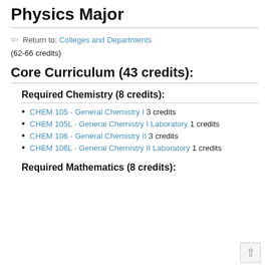Physics Major
Return to: Colleges and Departments
(62-66 credits)
Core Curriculum (43 credits):
Required Chemistry (8 credits):
CHEM 105 - General Chemistry I 3 credits
CHEM 105L - General Chemistry I Laboratory 1 credits
CHEM 106 - General Chemistry II 3 credits
CHEM 106L - General Chemistry II Laboratory 1 credits
Required Mathematics (8 credits):